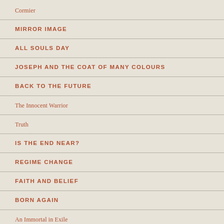Cormier
MIRROR IMAGE
ALL SOULS DAY
JOSEPH AND THE COAT OF MANY COLOURS
BACK TO THE FUTURE
The Innocent Warrior
Truth
IS THE END NEAR?
REGIME CHANGE
FAITH AND BELIEF
BORN AGAIN
An Immortal in Exile